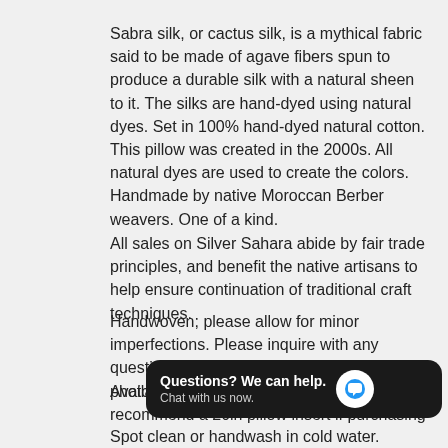Sabra silk, or cactus silk, is a mythical fabric said to be made of agave fibers spun to produce a durable silk with a natural sheen to it. The silks are hand-dyed using natural dyes. Set in 100% hand-dyed natural cotton. This pillow was created in the 2000s. All natural dyes are used to create the colors. Handmade by native Moroccan Berber weavers. One of a kind.
All sales on Silver Sahara abide by fair trade principles, and benefit the native artisans to help ensure continuation of traditional craft techniques.
Handwoven; please allow for minor imperfections. Please inquire with any questions or for more pictures. Note that photos against the blue show a truer color.
Available pre-stuffed or pillowcase only. We recommend a 20in pillow insert if purchasing
Spot clean or handwash in cold water.
[Figure (screenshot): Chat widget popup in the bottom right: black rounded rectangle with 'Questions? We can help.' in bold white and 'Chat with us now.' in grey, with a circular white icon containing a blue speech bubble.]